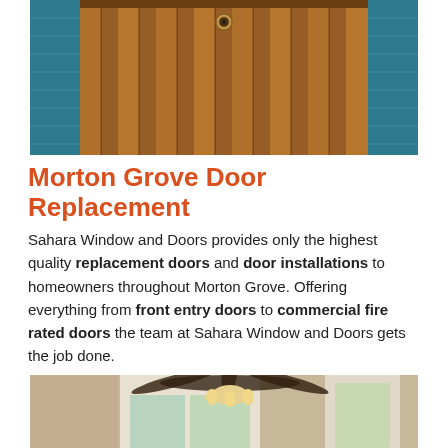[Figure (photo): Wooden front door with vertical planks and a peephole, set against a teal/blue siding exterior]
Morton Grove Door Replacement
Sahara Window and Doors provides only the highest quality replacement doors and door installations to homeowners throughout Morton Grove. Offering everything from front entry doors to commercial fire rated doors the team at Sahara Window and Doors gets the job done.
[Figure (photo): Interior room with large white-framed arched windows and a ceiling fan with light fixture, warm beige walls]